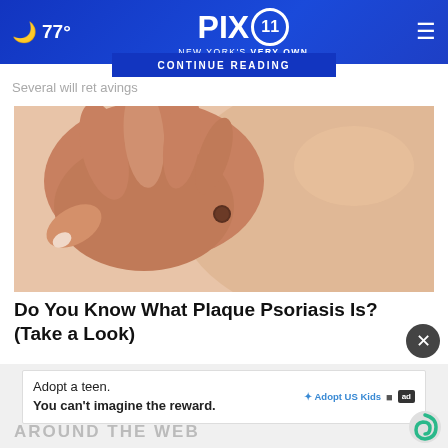🌙 77°  PIX 11  NEW YORK'S VERY OWN  ≡
Several will ret...avings
[Figure (photo): Close-up photo of a hand touching skin with a mole/lesion on someone's torso]
Do You Know What Plaque Psoriasis Is? (Take a Look)
Adopt a teen. You can't imagine the reward.
AROUND THE WEB